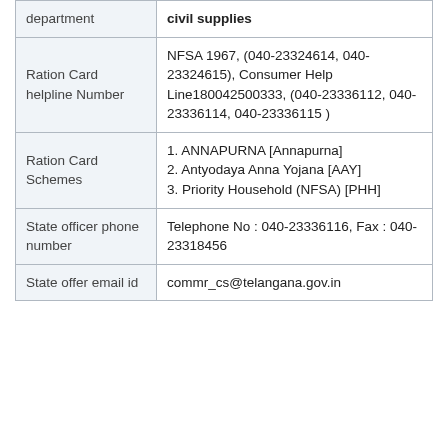| department | civil supplies |
| Ration Card helpline Number | NFSA 1967, (040-23324614, 040-23324615), Consumer Help Line180042500333, (040-23336112, 040-23336114, 040-23336115 ) |
| Ration Card Schemes | 1. ANNAPURNA [Annapurna]
2. Antyodaya Anna Yojana [AAY]
3. Priority Household (NFSA) [PHH] |
| State officer phone number | Telephone No : 040-23336116, Fax : 040-23318456 |
| State offer email id | commr_cs@telangana.gov.in |